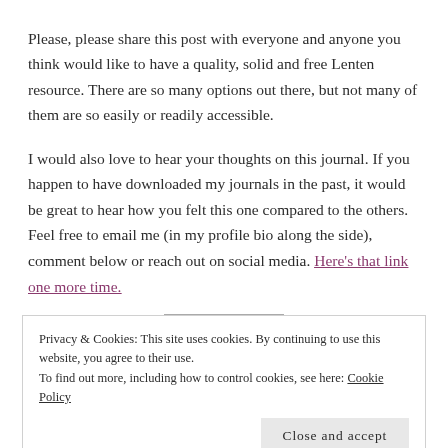Please, please share this post with everyone and anyone you think would like to have a quality, solid and free Lenten resource. There are so many options out there, but not many of them are so easily or readily accessible.
I would also love to hear your thoughts on this journal. If you happen to have downloaded my journals in the past, it would be great to hear how you felt this one compared to the others. Feel free to email me (in my profile bio along the side), comment below or reach out on social media. Here's that link one more time.
Privacy & Cookies: This site uses cookies. By continuing to use this website, you agree to their use. To find out more, including how to control cookies, see here: Cookie Policy
Close and accept